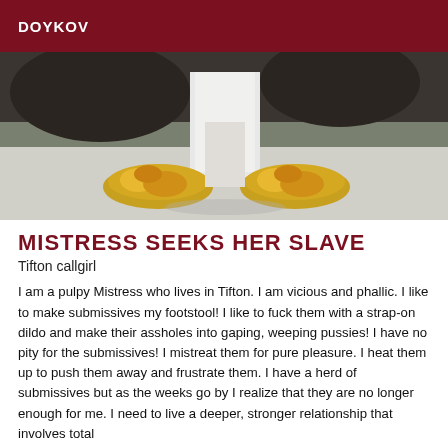DOYKOV
[Figure (photo): Close-up photo of feet wearing decorative golden shoes/slippers on a light surface, with dark background above]
MISTRESS SEEKS HER SLAVE
Tifton callgirl
I am a pulpy Mistress who lives in Tifton. I am vicious and phallic. I like to make submissives my footstool! I like to fuck them with a strap-on dildo and make their assholes into gaping, weeping pussies! I have no pity for the submissives! I mistreat them for pure pleasure. I heat them up to push them away and frustrate them. I have a herd of submissives but as the weeks go by I realize that they are no longer enough for me. I need to live a deeper, stronger relationship that involves total